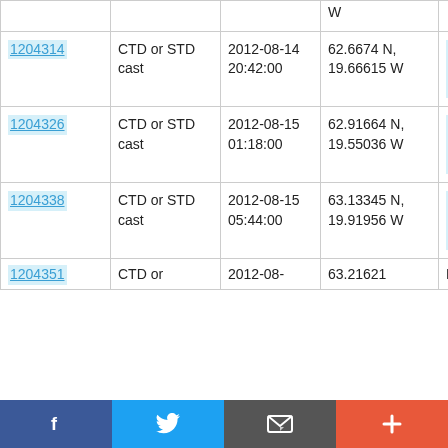| ID | Type | Date/Time | Location | Vessel |
| --- | --- | --- | --- | --- |
|  |  |  | W |  |
| 1204314 | CTD or STD cast | 2012-08-14 20:42:00 | 62.6674 N, 19.66615 W | RRS Discovery D379 |
| 1204326 | CTD or STD cast | 2012-08-15 01:18:00 | 62.91664 N, 19.55036 W | RRS Discovery D379 |
| 1204338 | CTD or STD cast | 2012-08-15 05:44:00 | 63.13345 N, 19.91956 W | RRS Discovery D379 |
| 1204351 | CTD or | 2012-08- | 63.21621 | RRS |